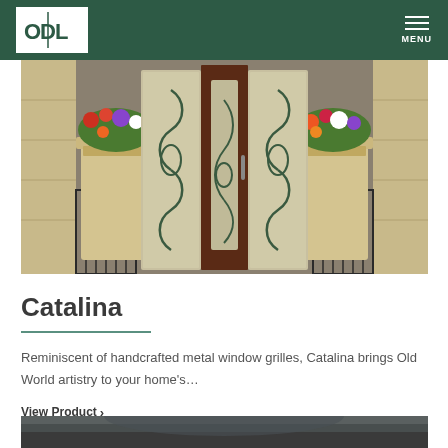ODL — Navigation header with logo and MENU
[Figure (photo): Exterior entryway photo showing an ornate dark wood front door with decorative glass sidelites featuring scrollwork grille patterns, flanked by stone pillar planters filled with colorful flowers]
Catalina
Reminiscent of handcrafted metal window grilles, Catalina brings Old World artistry to your home's…
View Product ›
[Figure (photo): Partial view of another product entry image at bottom of page]